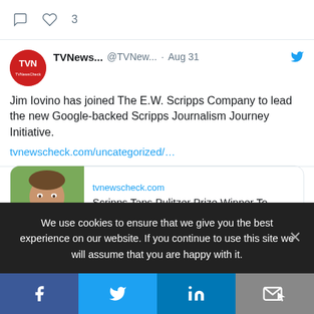[Figure (screenshot): Tweet from TVNewsCheck (@TVNew...) dated Aug 31: 'Jim Iovino has joined The E.W. Scripps Company to lead the new Google-backed Scripps Journalism Journey Initiative.' with link to tvnewscheck.com/uncategorized/... and a link preview card showing a man's photo and title 'Scripps Taps Pulitzer Prize Winner To Lea...' from tvnewscheck.com]
We use cookies to ensure that we give you the best experience on our website. If you continue to use this site we will assume that you are happy with it.
[Figure (screenshot): Social share bar with Facebook, Twitter, LinkedIn, and email/share icons]